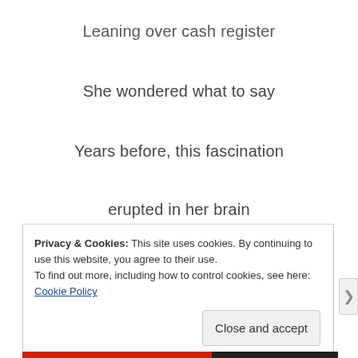Leaning over cash register
She wondered what to say
Years before, this fascination
erupted in her brain
Addie wanted Jack, needed him
Privacy & Cookies: This site uses cookies. By continuing to use this website, you agree to their use.
To find out more, including how to control cookies, see here: Cookie Policy
Close and accept